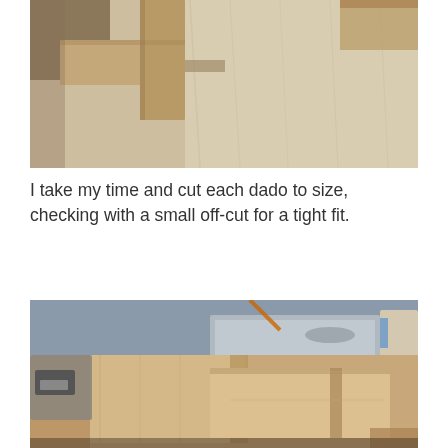[Figure (photo): Woodworking photo showing dado joints cut in wood panels, viewed from above at an angle, light-colored wood grain visible.]
I take my time and cut each dado to size, checking with a small off-cut for a tight fit.
[Figure (photo): Workshop photo showing wooden panels being cut on a table saw, with dado joints fitted together on a workbench. A router plane tool visible on the left side.]